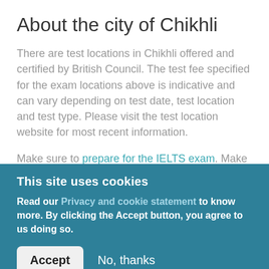About the city of Chikhli
There are test locations in Chikhli offered and certified by British Council. The test fee specified for the exam locations above is indicative and can vary depending on test date, test location and test type. Please visit the test location website for most recent information.
Make sure to prepare for the IELTS exam. Make sure you will get a good score on your test by selecting an English language program. Choose a top language school that can advance you to your intended English level and start your IELTS
This site uses cookies
Read our Privacy and cookie statement to know more. By clicking the Accept button, you agree to us doing so.
Accept   No, thanks